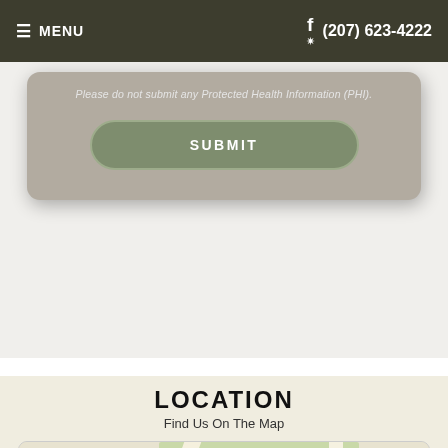≡ MENU  f  ✿  (207) 623-4222
Please do not submit any Protected Health Information (PHI).
SUBMIT
LOCATION
Find Us On The Map
[Figure (map): Interactive street map showing location near Capitol Street, Augusta, Maine with zoom controls (+/-), Sweet Chilli Thai label, Blaine Memorial Park, Wern Ave., and a popup showing '213 Ca...' address with Accessibility View button and close (×) button.]